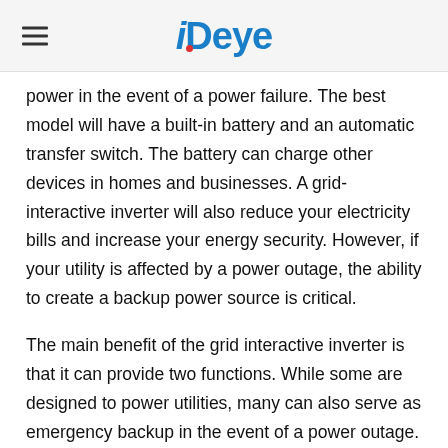Deye
power in the event of a power failure. The best model will have a built-in battery and an automatic transfer switch. The battery can charge other devices in homes and businesses. A grid-interactive inverter will also reduce your electricity bills and increase your energy security. However, if your utility is affected by a power outage, the ability to create a backup power source is critical.
The main benefit of the grid interactive inverter is that it can provide two functions. While some are designed to power utilities, many can also serve as emergency backup in the event of a power outage. The battery bank can be charged from solar or from solar and then output to the grid. These two functions make the inverter a true "grid-interactive" inverter. The National Electricity Code regulates inverters that interact with the grid, and inverters that do not meet these standards are not considered safe.